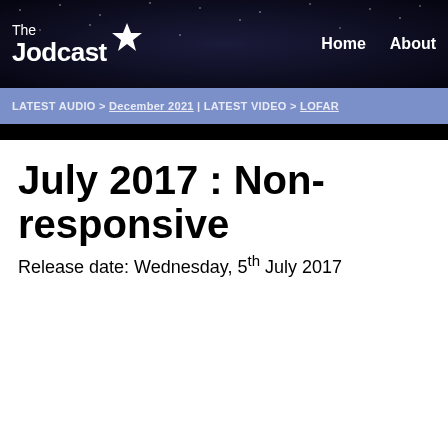The Jodcast | Home | About
LATEST AUDIO > December 2021 | LATEST VIDEO > LOFAR
July 2017 : Non-responsive
Release date: Wednesday, 5th July 2017